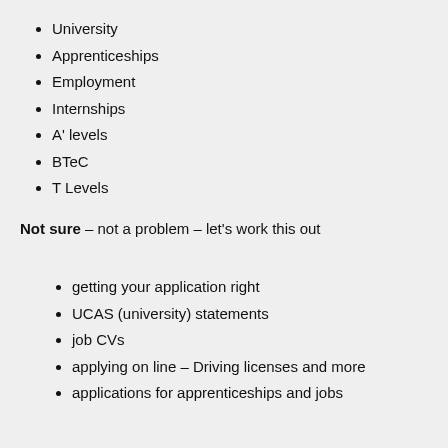University
Apprenticeships
Employment
Internships
A' levels
BTeC
T Levels
Not sure – not a problem – let's work this out
getting your application right
UCAS (university) statements
job CVs
applying on line – Driving licenses and more
applications for apprenticeships and jobs